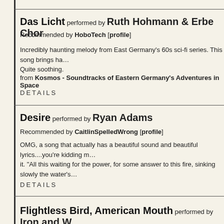Das Licht performed by Ruth Hohmann & Erbe Chor
Recommended by HoboTech [profile]
Incredibly haunting melody from East Germany's 60s sci-fi series. This song brings ha… Quite soothing.
from Kosmos - Soundtracks of Eastern Germany's Adventures in Space
DETAILS
Desire performed by Ryan Adams
Recommended by CaitlinSpelledWrong [profile]
OMG, a song that actually has a beautiful sound and beautiful lyrics....you're kidding m… it. "All this waiting for the power, for some answer to this fire, sinking slowly the water's…
DETAILS
Flightless Bird, American Mouth performed by Iron and W…